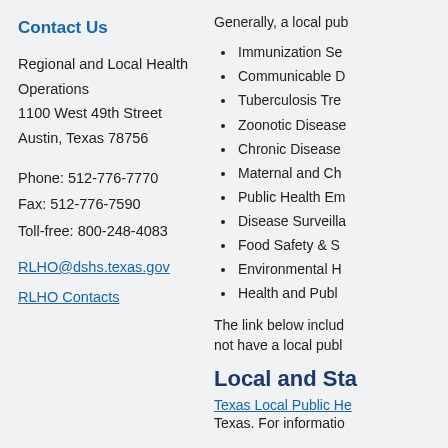Contact Us
Regional and Local Health Operations
1100 West 49th Street
Austin, Texas 78756
Phone: 512-776-7770
Fax: 512-776-7590
Toll-free: 800-248-4083
RLHO@dshs.texas.gov
RLHO Contacts
Generally, a local pub
Immunization Se
Communicable D
Tuberculosis Tre
Zoonotic Disease
Chronic Disease
Maternal and Ch
Public Health Em
Disease Surveilla
Food Safety & S
Environmental H
Health and Publ
The link below includ not have a local publ
Local and Sta
Texas Local Public He
Texas. For informatio